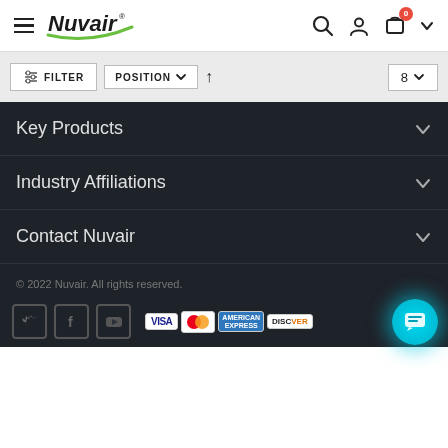Nuvair
FILTER | POSITION | 8
Key Products
Industry Affiliations
Contact Nuvair
© 2022 Nuvair. All rights reserved.
[Figure (logo): Social media icons: Twitter, Facebook, YouTube; Payment logos: VISA, MasterCard, American Express, Discover; Chat button]